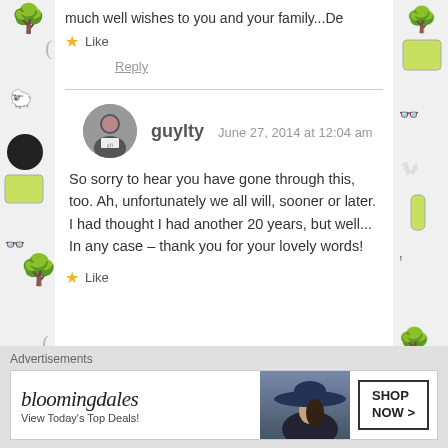much well wishes to you and your family...De
★ Like
Reply
guylty  June 27, 2014 at 12:04 am
So sorry to hear you have gone through this, too. Ah, unfortunately we all will, sooner or later. I had thought I had another 20 years, but well... In any case – thank you for your lovely words!
★ Like
Advertisements
[Figure (screenshot): Bloomingdale's advertisement banner showing brand logo 'bloomingdales', tagline 'View Today's Top Deals!', a woman with a large hat, and 'SHOP NOW >' button]